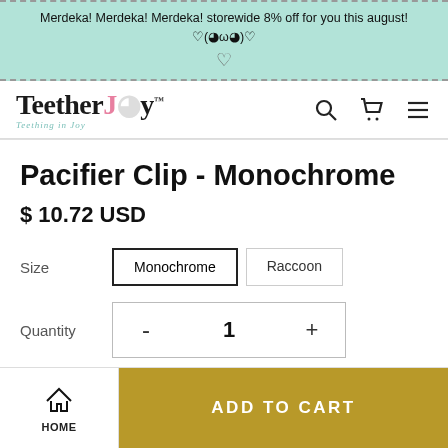Merdeka! Merdeka! Merdeka! storewide 8% off for you this august! ♡(◕ω◕)♡
[Figure (logo): TeetherJoy logo with tagline 'Teething in Joy']
Pacifier Clip - Monochrome
$ 10.72 USD
Size  Monochrome  Raccoon
Quantity  -  1  +
ADD TO CART